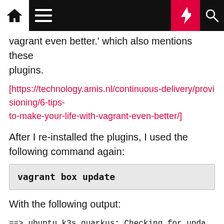Navigation bar with home, menu, bolt/lightning, and search icons
vagrant even better.' which also mentions these plugins.
[https://technology.amis.nl/continuous-delivery/provisioning/6-tips-to-make-your-life-with-vagrant-even-better/]
After I re-installed the plugins, I used the following command again:
vagrant box update
With the following output:
==> ubuntu_k3s_quarkus: Checking for upda
     ubuntu_k3s_quarkus: Latest installed
     ubuntu_k3s_quarkus: Version constrain
     ubuntu_k3s_quarkus: Provider: virtual
==> ubuntu_k3s_quarkus: Updating 'ubuntu/
==> ubuntu_k3s_quarkus: 20200812.0.0' to